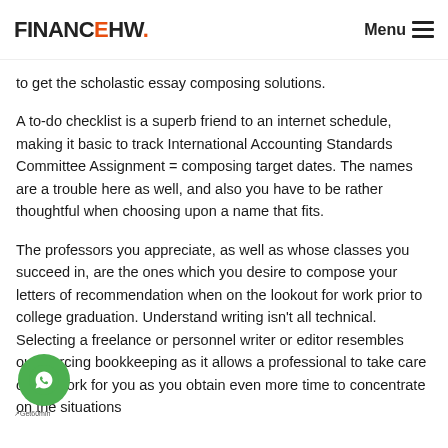FINANCEHW. Menu
to get the scholastic essay composing solutions.
A to-do checklist is a superb friend to an internet schedule, making it basic to track International Accounting Standards Committee Assignment = composing target dates. The names are a trouble here as well, and also you have to be rather thoughtful when choosing upon a name that fits.
The professors you appreciate, as well as whose classes you succeed in, are the ones which you desire to compose your letters of recommendation when on the lookout for work prior to college graduation. Understand writing isn't all technical. Selecting a freelance or personnel writer or editor resembles outsourcing bookkeeping as it allows a professional to take care of the work for you as you obtain even more time to concentrate on the situations